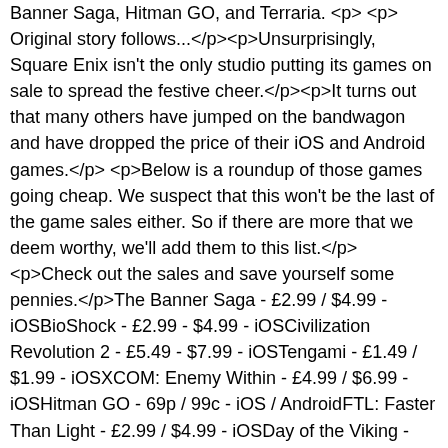Banner Saga, Hitman GO, and Terraria. </p> <p> Original story follows...</p><p>Unsurprisingly, Square Enix isn't the only studio putting its games on sale to spread the festive cheer.</p><p>It turns out that many others have jumped on the bandwagon and have dropped the price of their iOS and Android games.</p><p>Below is a roundup of those games going cheap. We suspect that this won't be the last of the game sales either. So if there are more that we deem worthy, we'll add them to this list.</p><p>Check out the sales and save yourself some pennies.</p>The Banner Saga - £2.99 / $4.99 - iOSBioShock - £2.99 - $4.99 - iOSCivilization Revolution 2 - £5.49 - $7.99 - iOSTengami - £1.49 / $1.99 - iOSXCOM: Enemy Within - £4.99 / $6.99 - iOSHitman GO - 69p / 99c - iOS / AndroidFTL: Faster Than Light - £2.99 / $4.99 - iOSDay of the Viking - 99p / 99c - iOSMachinarium - £1.99 / $2.99 - iOS | 75p / 99c - AndroidBotanicula - £1.99 - $2.99 - iOS Syberia - £2.49 / $3.99 - iOSDemocracy 3 - £1.99 / $2.99 - iOSGrand Theft Auto: Chinatown Wars - £1.99 / $2.99 - iOS /